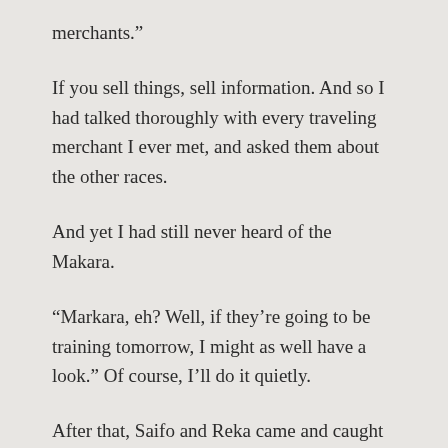merchants.”
If you sell things, sell information. And so I had talked thoroughly with every traveling merchant I ever met, and asked them about the other races.
And yet I had still never heard of the Makara.
“Markara, eh? Well, if they’re going to be training tomorrow, I might as well have a look.” Of course, I’ll do it quietly.
After that, Saifo and Reka came and caught me